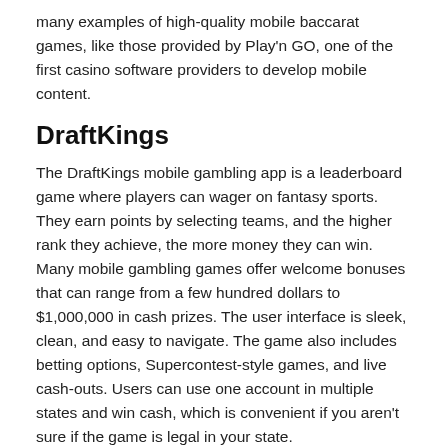many examples of high-quality mobile baccarat games, like those provided by Play'n GO, one of the first casino software providers to develop mobile content.
DraftKings
The DraftKings mobile gambling app is a leaderboard game where players can wager on fantasy sports. They earn points by selecting teams, and the higher rank they achieve, the more money they can win. Many mobile gambling games offer welcome bonuses that can range from a few hundred dollars to $1,000,000 in cash prizes. The user interface is sleek, clean, and easy to navigate. The game also includes betting options, Supercontest-style games, and live cash-outs. Users can use one account in multiple states and win cash, which is convenient if you aren't sure if the game is legal in your state.
HTML5 mobile applications
HTML5 mobile applications for gambling games allow gamers